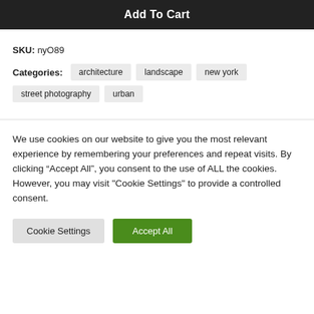[Figure (screenshot): Add To Cart button bar (dark background)]
SKU: nyO89
Categories: architecture  landscape  new york  street photography  urban
We use cookies on our website to give you the most relevant experience by remembering your preferences and repeat visits. By clicking “Accept All”, you consent to the use of ALL the cookies. However, you may visit "Cookie Settings" to provide a controlled consent.
Cookie Settings   Accept All